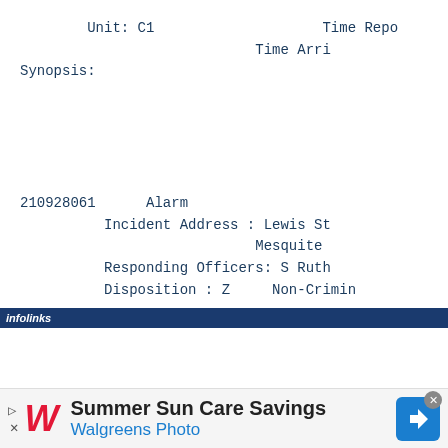Unit: C1                    Time Repo
                            Time Arri
Synopsis:
210928061      Alarm
          Incident Address : Lewis St
                            Mesquite
          Responding Officers: S Ruth
          Disposition : Z     Non-Crimin
[Figure (other): infolinks advertisement bar with Walgreens Summer Sun Care Savings ad]